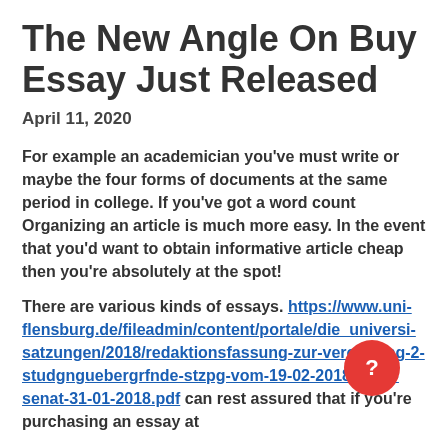The New Angle On Buy Essay Just Released
April 11, 2020
For example an academician you've must write or maybe the four forms of documents at the same period in college. If you've got a word count Organizing an article is much more easy. In the event that you'd want to obtain informative article cheap then you're absolutely at the spot!
There are various kinds of essays. https://www.uni-flensburg.de/fileadmin/content/portale/die_universi-satzungen/2018/redaktionsfassung-zur-veroefftlng-2-studgnguebergrfnde-stzpg-vom-19-02-2018-nach-senat-31-01-2018.pdf can rest assured that if you're purchasing an essay at Abecke Fur you will get to be sure to work with